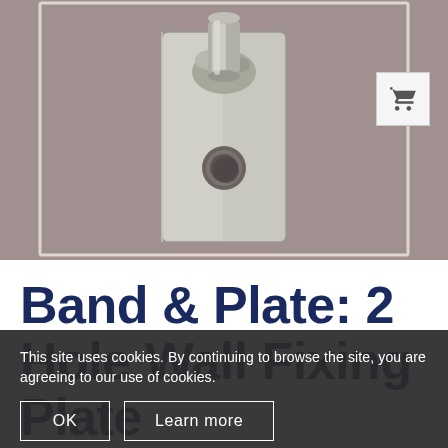[Figure (photo): Close-up photo of a galvanized steel band and plate wall fixing component — a rectangular metal plate with a cylindrical tube welded at the top and a round hole near the center, on a brownish-grey textured background.]
Band & Plate: 2 Hole Wall Fixing Plate
This site uses cookies. By continuing to browse the site, you are agreeing to our use of cookies.
OK   Learn more